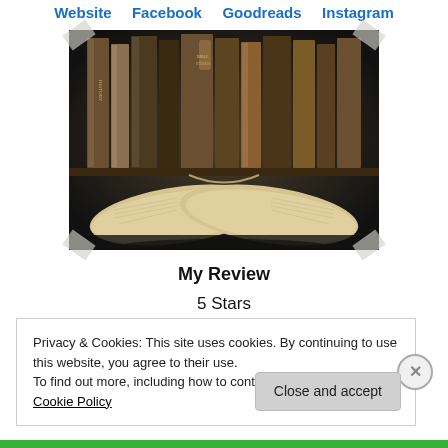Website   Facebook   Goodreads   Instagram
[Figure (photo): Sepia-toned photo of old books standing on a shelf with an open book in the foreground, pages fanned out in a heart shape. The image is styled as a pinned photo with tape at the corners.]
My Review
5 Stars
Privacy & Cookies: This site uses cookies. By continuing to use this website, you agree to their use.
To find out more, including how to control cookies, see here: Cookie Policy